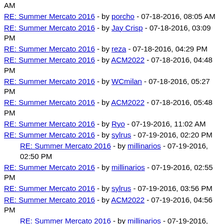AM
RE: Summer Mercato 2016 - by porcho - 07-18-2016, 08:05 AM
RE: Summer Mercato 2016 - by Jay Crisp - 07-18-2016, 03:09 PM
RE: Summer Mercato 2016 - by reza - 07-18-2016, 04:29 PM
RE: Summer Mercato 2016 - by ACM2022 - 07-18-2016, 04:48 PM
RE: Summer Mercato 2016 - by WCmilan - 07-18-2016, 05:27 PM
RE: Summer Mercato 2016 - by ACM2022 - 07-18-2016, 05:48 PM
RE: Summer Mercato 2016 - by Ryo - 07-19-2016, 11:02 AM
RE: Summer Mercato 2016 - by sylrus - 07-19-2016, 02:20 PM
RE: Summer Mercato 2016 - by millinarios - 07-19-2016, 02:50 PM (indented)
RE: Summer Mercato 2016 - by millinarios - 07-19-2016, 02:55 PM
RE: Summer Mercato 2016 - by sylrus - 07-19-2016, 03:56 PM
RE: Summer Mercato 2016 - by ACM2022 - 07-19-2016, 04:56 PM
RE: Summer Mercato 2016 - by millinarios - 07-19-2016, 05:00 PM (indented)
RE: Summer Mercato 2016 - by somedevil - 07-20-2016, 04:53 AM (indented)
RE: Summer Mercato 2016 - by ACM2022 - 07-19-2016 (truncated)